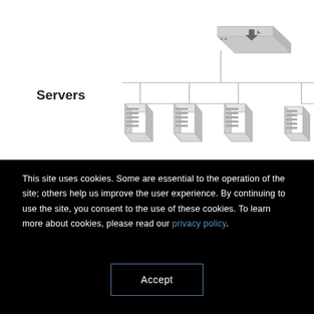[Figure (network-graph): Network diagram showing a router/switch device at top center connected via vertical and horizontal lines to two groups of three server icons each, arranged in a tree topology. Left group has three servers, right group has three servers. Label 'Servers' appears at upper left.]
This site uses cookies. Some are essential to the operation of the site; others help us improve the user experience. By continuing to use the site, you consent to the use of these cookies. To learn more about cookies, please read our privacy policy.
Accept